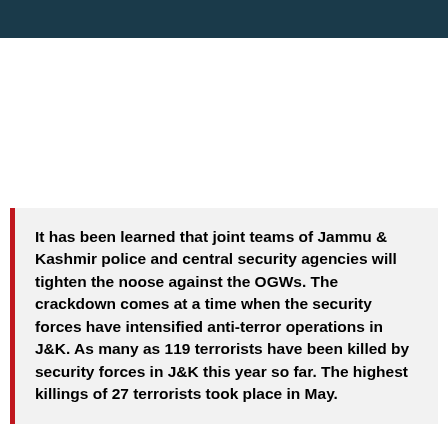It has been learned that joint teams of Jammu & Kashmir police and central security agencies will tighten the noose against the OGWs. The crackdown comes at a time when the security forces have intensified anti-terror operations in J&K. As many as 119 terrorists have been killed by security forces in J&K this year so far. The highest killings of 27 terrorists took place in May.
New Delhi: Security agencies in the state of Jammu &